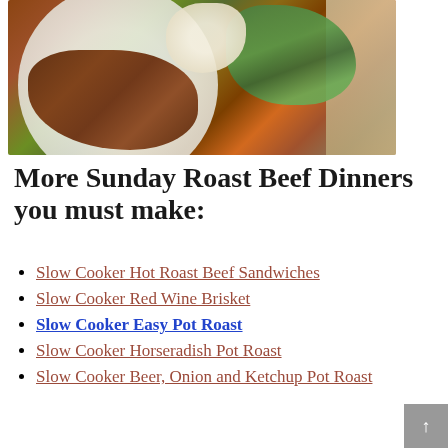[Figure (photo): A plate of slow-cooked shredded beef with mashed potatoes and green beans on a wooden table with a napkin in the background.]
More Sunday Roast Beef Dinners you must make:
Slow Cooker Hot Roast Beef Sandwiches
Slow Cooker Red Wine Brisket
Slow Cooker Easy Pot Roast
Slow Cooker Horseradish Pot Roast
Slow Cooker Beer, Onion and Ketchup Pot Roast